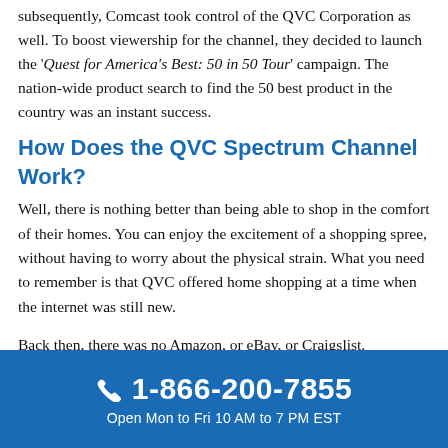subsequently, Comcast took control of the QVC Corporation as well. To boost viewership for the channel, they decided to launch the 'Quest for America's Best: 50 in 50 Tour' campaign. The nation-wide product search to find the 50 best product in the country was an instant success.
How Does the QVC Spectrum Channel Work?
Well, there is nothing better than being able to shop in the comfort of their homes. You can enjoy the excitement of a shopping spree, without having to worry about the physical strain. What you need to remember is that QVC offered home shopping at a time when the internet was still new.
Back then, there was no Amazon, or eBay, or Craigslist.
☎ 1-866-200-7855
Open Mon to Fri 10 AM to 7 PM EST